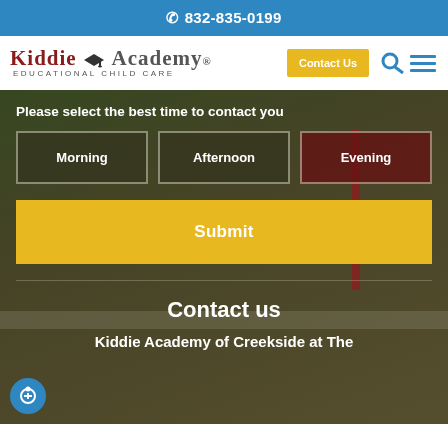☎ 832-835-0199
[Figure (logo): Kiddie Academy Educational Child Care logo with graduation cap icon]
Contact Us
Please select the best time to contact you
Morning
Afternoon
Evening
Submit
Contact us
Kiddie Academy of Creekside at The